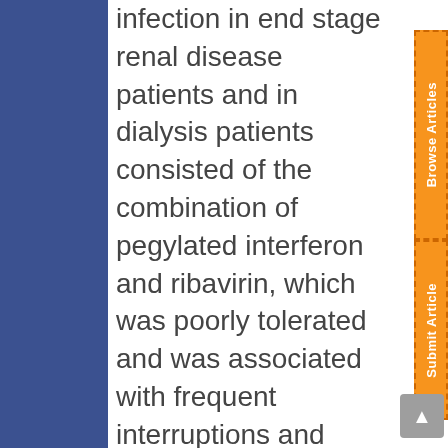infection in end stage renal disease patients and in dialysis patients consisted of the combination of pegylated interferon and ribavirin, which was poorly tolerated and was associated with frequent interruptions and lower sustained